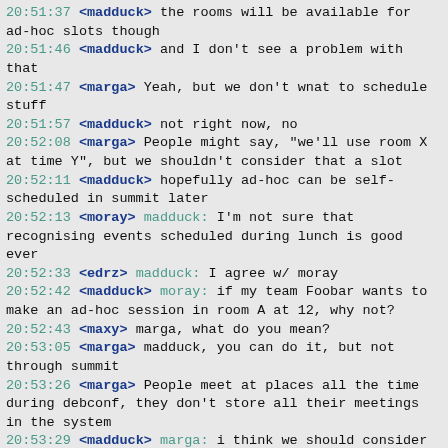20:51:37 <madduck> the rooms will be available for ad-hoc slots though
20:51:46 <madduck> and I don't see a problem with that
20:51:47 <marga> Yeah, but we don't wnat to schedule stuff
20:51:57 <madduck> not right now, no
20:52:08 <marga> People might say, "we'll use room X at time Y", but we shouldn't consider that a slot
20:52:11 <madduck> hopefully ad-hoc can be self-scheduled in summit later
20:52:13 <moray> madduck: I'm not sure that recognising events scheduled during lunch is good ever
20:52:33 <edrz> madduck: I agree w/ moray
20:52:42 <madduck> moray: if my team Foobar wants to make an ad-hoc session in room A at 12, why not?
20:52:43 <maxy> marga, what do you mean?
20:53:05 <marga> madduck, you can do it, but not through summit
20:53:26 <marga> People meet at places all the time during debconf, they don't store all their meetings in the system
20:53:29 <madduck> marga: i think we should consider that a possibility, and if only so that in the end we can show to our sponsors a huge schedule of stuff
20:53:36 <moray> right, what marga says
20:53:46 <rmayorga> marga: summit is encourage for ad-hoc
20:53:49 <madduck> they need to use summit if they are planning to use a limited resource like a room
20:54:02 <rmayorga> it makes the meeting visible on the